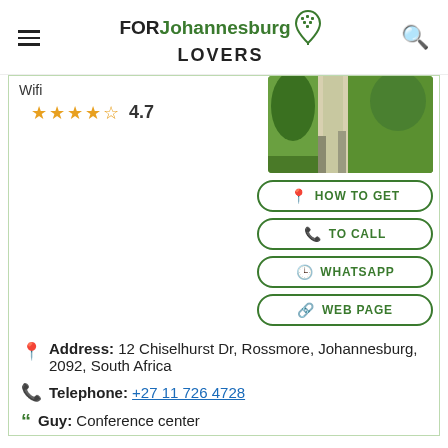FORJohannesburgLOVERS
Wifi
4.7
[Figure (photo): Outdoor nature/park scene with trees and pathway]
HOW TO GET
TO CALL
WHATSAPP
WEB PAGE
Address: 12 Chiselhurst Dr, Rossmore, Johannesburg, 2092, South Africa
Telephone: +27 11 726 4728
Guy: Conference center